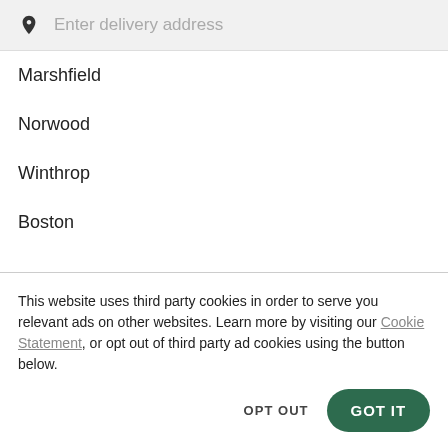[Figure (screenshot): Search bar with location pin icon and placeholder text 'Enter delivery address']
Marshfield
Norwood
Winthrop
Boston
This website uses third party cookies in order to serve you relevant ads on other websites. Learn more by visiting our Cookie Statement, or opt out of third party ad cookies using the button below.
OPT OUT
GOT IT